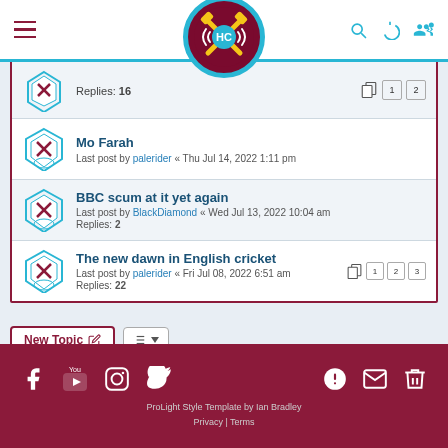HC Forum header with logo and navigation icons
Replies: 16
Mo Farah — Last post by palerider « Thu Jul 14, 2022 1:11 pm
BBC scum at it yet again — Last post by BlackDiamond « Wed Jul 13, 2022 10:04 am — Replies: 2
The new dawn in English cricket — Last post by palerider « Fri Jul 08, 2022 6:51 am — Replies: 22
New Topic | Sort | Pagination: 1 2 3 4 5 ... 87
Jump to
ProLight Style Template by Ian Bradley | Privacy | Terms